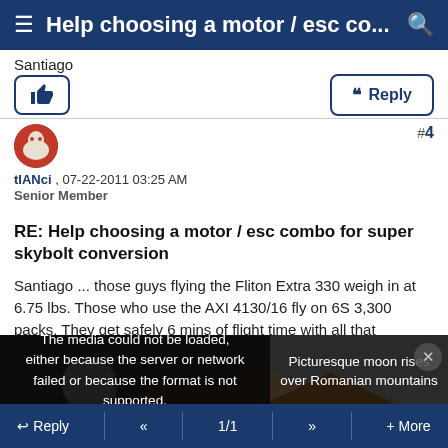Help choosing a motor / esc co...
Santiago
👍  Reply
#4
tIANci , 07-22-2011 03:25 AM
Senior Member
RE: Help choosing a motor / esc combo for super skybolt conversion
Santiago ... those guys flying the Fliton Extra 330 weigh in at 6.75 lbs. Those who use the AXI 4130/16 fly on 6S 3,300 packs. They get safely 6 mins of flight time with all that
[Figure (screenshot): Media error overlay on a dark image showing moon over mountains. Error message: 'The media could not be loaded, either because the server or network failed or because the format is not supported.' Caption: 'Picturesque moon rises over Romanian mountains']
Reply  «  1/1  »  + More